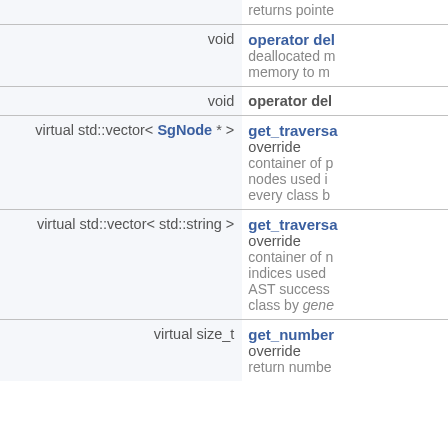| return type | function/description |
| --- | --- |
|  | returns pointe… |
| void | operator del…
deallocated m…
memory to m… |
| void | operator del… |
| virtual std::vector< SgNode * > | get_traversa…
override
container of p…
nodes used i…
every class b… |
| virtual std::vector< std::string > | get_traversa…
override
container of n…
indices used …
AST success…
class by gene… |
| virtual size_t | get_number…
override
return numbe… |